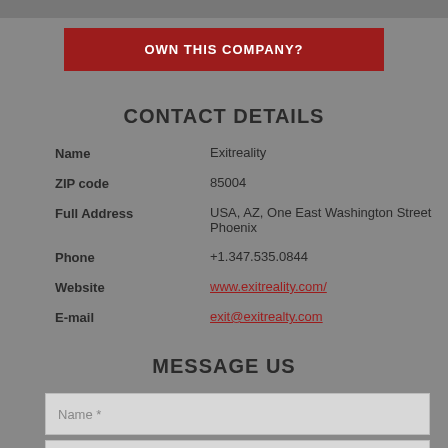OWN THIS COMPANY?
CONTACT DETAILS
Name: Exitreality
ZIP code: 85004
Full Address: USA, AZ, One East Washington Street Phoenix
Phone: +1.347.535.0844
Website: www.exitreality.com/
E-mail: exit@exitrealty.com
MESSAGE US
Name *
E-mail *